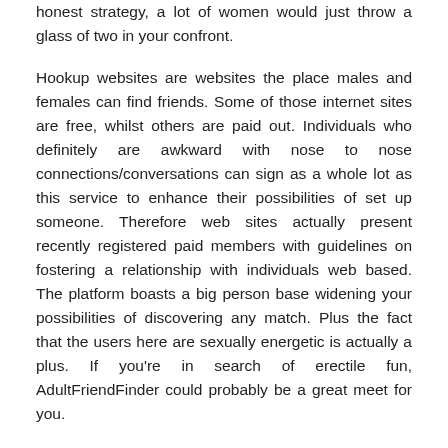honest strategy, a lot of women would just throw a glass of two in your confront.
Hookup websites are websites the place males and females can find friends. Some of those internet sites are free, whilst others are paid out. Individuals who definitely are awkward with nose to nose connections/conversations can sign as a whole lot as this service to enhance their possibilities of set up someone. Therefore web sites actually present recently registered paid members with guidelines on fostering a relationship with individuals web based. The platform boasts a big person base widening your possibilities of discovering any match. Plus the fact that the users here are sexually energetic is actually a plus. If you're in search of erectile fun, AdultFriendFinder could probably be a great meet for you.
Due to Ashley Madison site's nature, customers are extra thrilled about one-night stands than long term associations. You'll have connection to all belonging to the features you'd